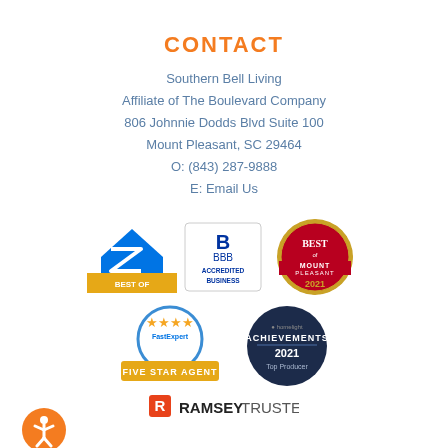CONTACT
Southern Bell Living
Affiliate of The Boulevard Company
806 Johnnie Dodds Blvd Suite 100
Mount Pleasant, SC 29464
O: (843) 287-9888
E: Email Us
[Figure (logo): Zillow Best Of badge, BBB Accredited Business badge, Best of Mount Pleasant 2021 badge]
[Figure (logo): FastExpert Five Star Agent badge, Homelight Achievements 2021 Top Producer badge]
[Figure (logo): Ramsey Trusted logo]
[Figure (logo): Accessibility button icon (orange circle with person figure)]